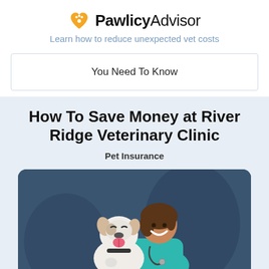PawlicyAdvisor — Learn how to reduce unexpected vet costs
You Need To Know
How To Save Money at River Ridge Veterinary Clinic
Pet Insurance
[Figure (illustration): Cartoon illustration of a smiling female veterinarian in teal scrubs holding a happy white and black dog, set against a dark blue-grey background.]